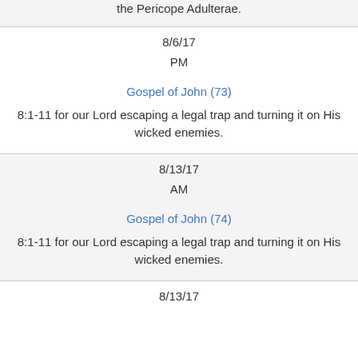the Pericope Adulterae.
8/6/17
PM
Gospel of John (73)
8:1-11 for our Lord escaping a legal trap and turning it on His wicked enemies.
8/13/17
AM
Gospel of John (74)
8:1-11 for our Lord escaping a legal trap and turning it on His wicked enemies.
8/13/17